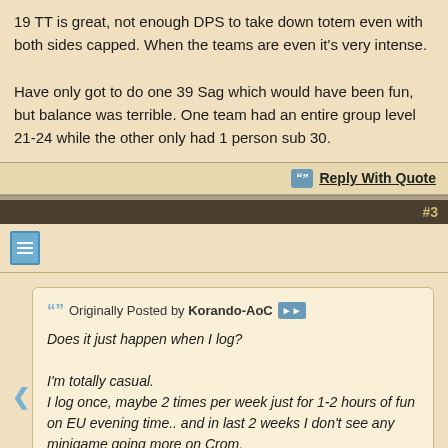19 TT is great, not enough DPS to take down totem even with both sides capped. When the teams are even it's very intense.

Have only got to do one 39 Sag which would have been fun, but balance was terrible. One team had an entire group level 21-24 while the other only had 1 person sub 30.
Reply With Quote
#3
Originally Posted by Korando-AoC
Does it just happen when I log?

I'm totally casual.
I log once, maybe 2 times per week just for 1-2 hours of fun on EU evening time.. and in last 2 weeks I don't see any minigame going more on Crom.

Saga effect? Are you all playing that?
Saga effect.